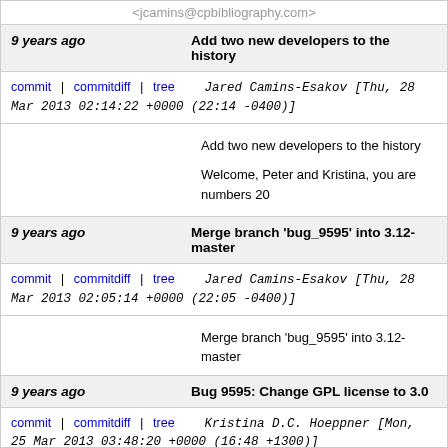<jcamins@cpbibliography.com>
9 years ago	Add two new developers to the history
commit | commitdiff | tree	Jared Camins-Esakov [Thu, 28 Mar 2013 02:14:22 +0000 (22:14 -0400)]
Add two new developers to the history

Welcome, Peter and Kristina, you are numbers 20
9 years ago	Merge branch 'bug_9595' into 3.12-master
commit | commitdiff | tree	Jared Camins-Esakov [Thu, 28 Mar 2013 02:05:14 +0000 (22:05 -0400)]
Merge branch 'bug_9595' into 3.12-master
9 years ago	Bug 9595: Change GPL license to 3.0
commit | commitdiff | tree	Kristina D.C. Hoeppner [Mon, 25 Mar 2013 03:48:20 +0000 (16:48 +1300)]
Bug 9595: Change GPL license to 3.0

Change the general Koha license from 2 to 3 in the About page and also link to the new YUI BSD license page